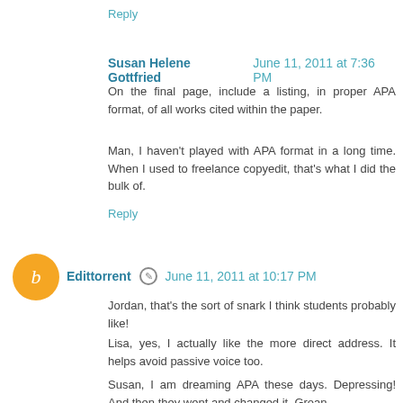Reply
Susan Helene Gottfried  June 11, 2011 at 7:36 PM
On the final page, include a listing, in proper APA format, of all works cited within the paper.
Man, I haven't played with APA format in a long time. When I used to freelance copyedit, that's what I did the bulk of.
Reply
Edittorrent  June 11, 2011 at 10:17 PM
Jordan, that's the sort of snark I think students probably like!
Lisa, yes, I actually like the more direct address. It helps avoid passive voice too.
Susan, I am dreaming APA these days. Depressing! And then they went and changed it. Groan.